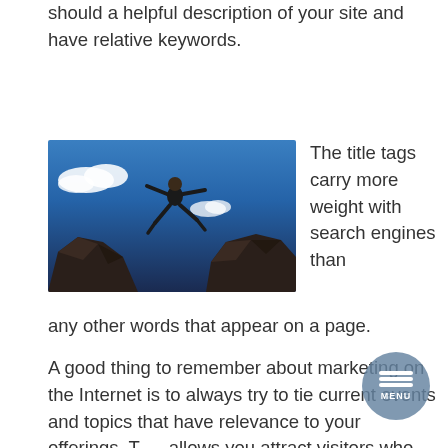should a helpful description of your site and have relative keywords.
[Figure (photo): A person leaping between two dark rocks against a bright blue sky with white clouds.]
The title tags carry more weight with search engines than any other words that appear on a page.
A good thing to remember about marketing on the Internet is to always try to tie current events and topics that have relevance to your offerings. This allows you attract visitors who aren't necessarily searching for something that was not related to your